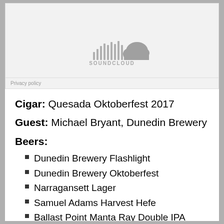[Figure (logo): SoundCloud embedded player placeholder with SoundCloud logo (stylized bars and cloud shape) and 'SOUNDCLOUD' text, on a light gray background. Privacy policy link at bottom.]
Cigar: Quesada Oktoberfest 2017
Guest: Michael Bryant, Dunedin Brewery
Beers:
Dunedin Brewery Flashlight
Dunedin Brewery Oktoberfest
Narragansett Lager
Samuel Adams Harvest Hefe
Ballast Point Manta Ray Double IPA